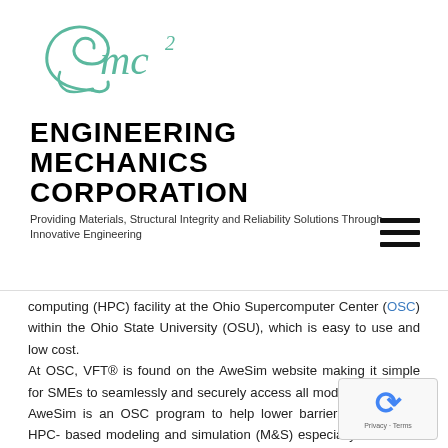[Figure (logo): EMC squared logo — stylized cursive 'E mc²' in teal/green color]
ENGINEERING MECHANICS CORPORATION
Providing Materials, Structural Integrity and Reliability Solutions Through Innovative Engineering
computing (HPC) facility at the Ohio Supercomputer Center (OSC) within the Ohio State University (OSU), which is easy to use and low cost. At OSC, VFT® is found on the AweSim website making it simple for SMEs to seamlessly and securely access all modules of VFT®. AweSim is an OSC program to help lower barriers to entry for HPC- based modeling and simulation (M&S) especially for SMEs. It acts as the equivalent HPC version of various 'App Stores' that exist for Smartphone platforms and employ a userfriendly, tailored format for a diverse set of engineering applications available at affordable prices. Three main AweSim components have been developed for user access: App Kit for building apps; App Runner for running apps; and App Store for locating and buying apps (See Figure…